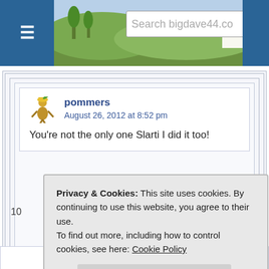[Figure (screenshot): Website header bar with hamburger menu button in blue, countryside photo background, search box reading 'Search bigdave44.co', and blue icon on right]
pommers
August 26, 2012 at 8:52 pm
You're not the only one Slarti I did it too!
Privacy & Cookies: This site uses cookies. By continuing to use this website, you agree to their use.
To find out more, including how to control cookies, see here: Cookie Policy
Close and accept
Captain got a mention in 26a! Thanks BD and virgiIious.